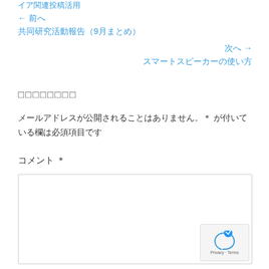イア関連投稿活用
← 前へ
共同研究活動報告（9月まとめ）
次へ →
スマートスピーカーの使い方
□□□□□□□□
メールアドレスが公開されることはありません。＊ が付いている欄は必須項目です
コメント ＊
[Figure (other): Comment text area input box]